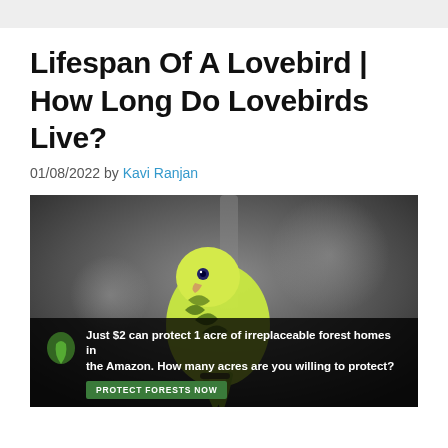Lifespan Of A Lovebird | How Long Do Lovebirds Live?
01/08/2022 by Kavi Ranjan
[Figure (photo): A green and yellow lovebird/budgerigar perched on a branch, photographed against a blurred dark background. Below the bird photo is an advertisement banner reading: 'Just $2 can protect 1 acre of irreplaceable forest homes in the Amazon. How many acres are you willing to protect?' with a 'PROTECT FORESTS NOW' button.]